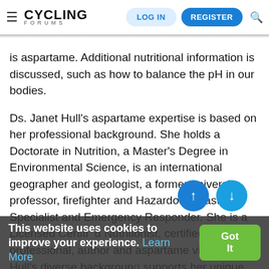≡ CYCLING FORUMS | LOG IN | REGISTER | 🔍
is aspartame. Additional nutritional information is discussed, such as how to balance the pH in our bodies.
Ds. Janet Hull's aspartame expertise is based on her professional background. She holds a Doctorate in Nutrition, a Master's Degree in Environmental Science, is an international geographer and geologist, a former university professor, firefighter and Hazardous Waste Specialist and Emergency Responder. She is a Licensed Certified Nutritionist, certified fitness professional, author and aspartame victim. Dr. Hull's diverse background supports her unique approach to contemporary nutritional issues. She has dedicated the past ten years to sharing with others her
This website uses cookies to improve your experience. Learn More | Got It